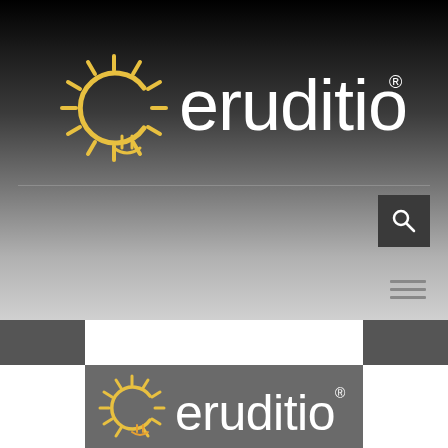[Figure (logo): Eruditio logo on dark gradient background — sun/lightbulb graphic with golden rays and a stylized 'e', followed by 'eruditio' text in white with registered trademark symbol]
[Figure (logo): Eruditio logo repeated at bottom on gray background — larger version with golden sun graphic and white 'eruditio' text with registered trademark symbol]